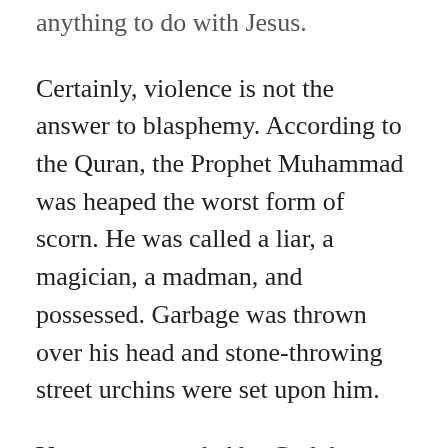anything to do with Jesus.
Certainly, violence is not the answer to blasphemy. According to the Quran, the Prophet Muhammad was heaped the worst form of scorn. He was called a liar, a magician, a madman, and possessed. Garbage was thrown over his head and stone-throwing street urchins were set upon him.
Yet as commanded by God, he exercised beautiful patience — Sabran Jameelan — and when his companions sought permission to retaliate, he would teach them the virtues of patience and remind them that he was sent as a mercy to the whole world. He befriended his